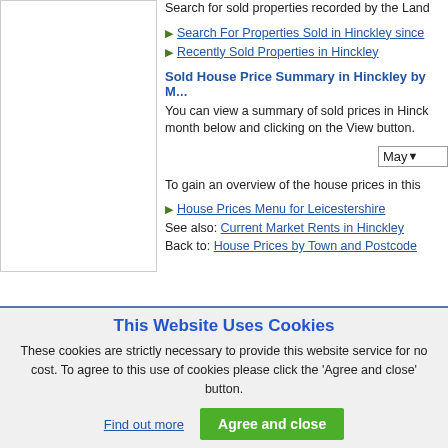[Figure (other): White box representing a map or image placeholder on the left side]
Search for sold properties recorded by the Land Registry.
Search For Properties Sold in Hinckley since ...
Recently Sold Properties in Hinckley
Sold House Price Summary in Hinckley by Mo...
You can view a summary of sold prices in Hinckley by month below and clicking on the View button.
May ▼ (dropdown)
To gain an overview of the house prices in this ...
House Prices Menu for Leicestershire
See also: Current Market Rents in Hinckley
Back to: House Prices by Town and Postcode
This Website Uses Cookies
These cookies are strictly necessary to provide this website service for no cost. To agree to this use of cookies please click the 'Agree and close' button.
Find out more   Agree and close